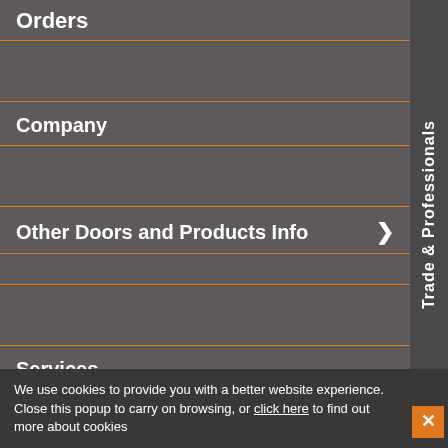Orders
Company
Other Doors and Products Info
Services
Spares & Repairs
Trade & Professionals
Request a Callback
We use cookies to provide you with a better website experience. Close this popup to carry on browsing, or click here to find out more about cookies